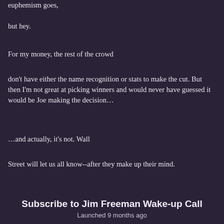euphemism goes,
but hey.
For my money, the rest of the crowd
don't have either the name recognition or stats to make the cut. But then I'm not great at picking winners and would never have guessed it would be Joe making the decision…
…and actually, it's not. Wall
Street will let us all know--after they make up their mind.
Subscribe to Jim Freeman Wake-up Call
Launched 9 months ago